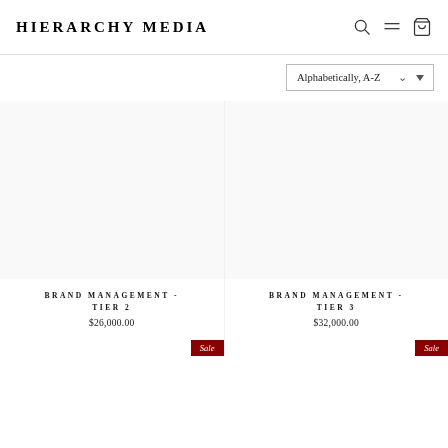HIERARCHY MEDIA
Alphabetically, A-Z
BRAND MANAGEMENT - TIER 2
$26,000.00
BRAND MANAGEMENT - TIER 3
$32,000.00